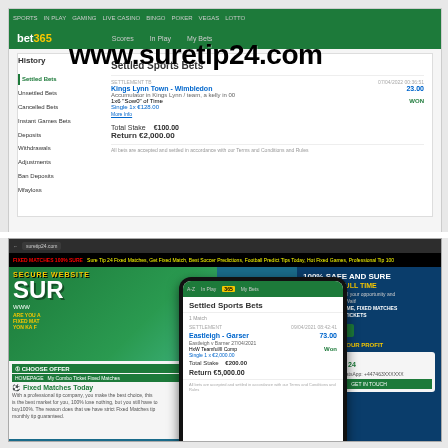[Figure (screenshot): bet365 website screenshot showing Settled Sports Bets history page with Kings Lynn Town vs Wimbledon match, Total Stake €100.00, Return €2,000.00, with www.suretip24.com watermark overlaid]
[Figure (screenshot): Photo of a smartphone displaying bet365 Settled Sports Bets page showing Eastleigh vs Garsec match, odds 73.00, Won, Single 1x €2,000.00, Total Stake €200.00, Return €5,000.00 - phone held in front of suretip24.com website on desktop screen showing SECURE WEBSITE, 100% SAFE AND SURE HALFTIME/FULL TIME promotional content]